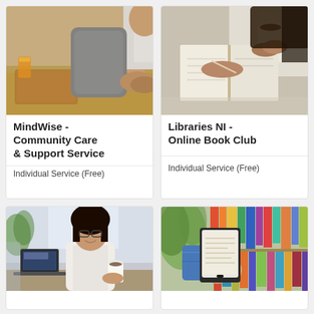[Figure (photo): Two people at a table, one holding a coffee cup, hands clasped together — care/support setting]
MindWise - Community Care & Support Service
Individual Service (Free)
[Figure (photo): Person reading a book while holding a coffee cup — library/book club setting]
Libraries NI - Online Book Club
Individual Service (Free)
[Figure (photo): Woman with glasses smiling at a desk with a laptop and coffee — office/work setting]
[Figure (photo): Hand holding an e-reader/tablet in front of library bookshelves]